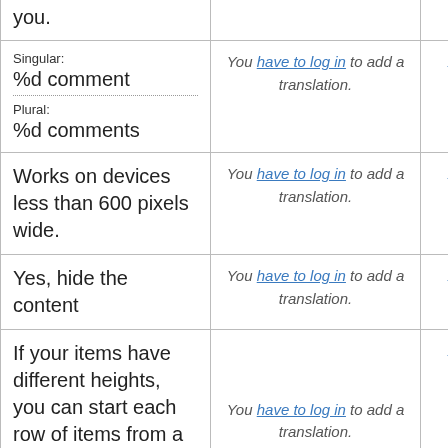| Source | Translation | Action |
| --- | --- | --- |
| you. |  |  |
| Singular:
%d comment
---
Plural:
%d comments | You have to log in to add a translation. | Details |
| Works on devices less than 600 pixels wide. | You have to log in to add a translation. | Details |
| Yes, hide the content | You have to log in to add a translation. | Details |
| If your items have different heights, you can start each row of items from a new line instead of the masonry style. | You have to log in to add a translation. | Details |